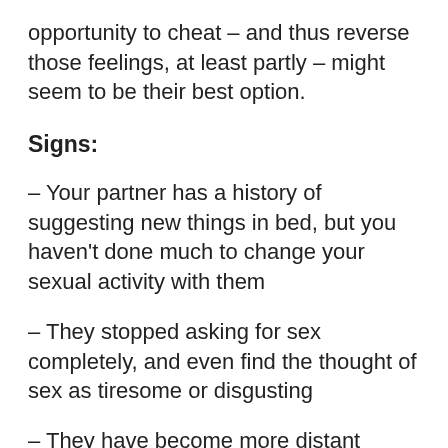opportunity to cheat – and thus reverse those feelings, at least partly – might seem to be their best option.
Signs:
– Your partner has a history of suggesting new things in bed, but you haven't done much to change your sexual activity with them
– They stopped asking for sex completely, and even find the thought of sex as tiresome or disgusting
– They have become more distant outside of the bedroom, as if you have ceased to be a priority in her mind